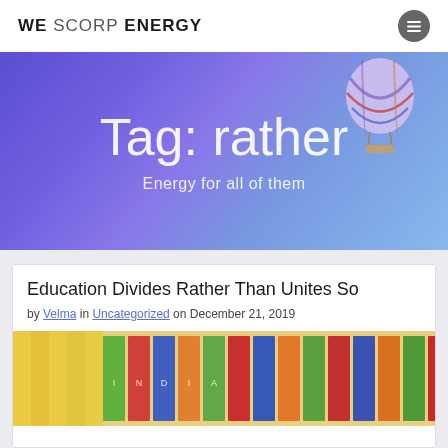WE SCORP ENERGY
Tag: rather
Energy for all of them
Education Divides Rather Than Unites So…
by Velma in Uncategorized on December 21, 2019
[Figure (photo): Colorful classroom/flags photo at the bottom of the post card]